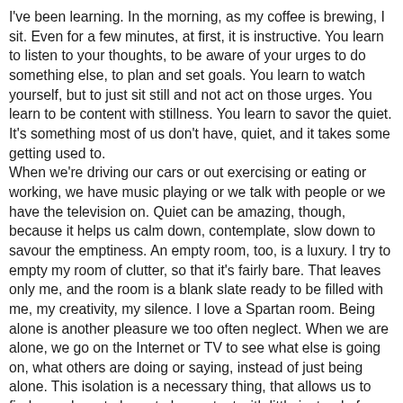I've been learning. In the morning, as my coffee is brewing, I sit. Even for a few minutes, at first, it is instructive. You learn to listen to your thoughts, to be aware of your urges to do something else, to plan and set goals. You learn to watch yourself, but to just sit still and not act on those urges. You learn to be content with stillness. You learn to savor the quiet. It's something most of us don't have, quiet, and it takes some getting used to. When we're driving our cars or out exercising or eating or working, we have music playing or we talk with people or we have the television on. Quiet can be amazing, though, because it helps us calm down, contemplate, slow down to savour the emptiness. An empty room, too, is a luxury. I try to empty my room of clutter, so that it's fairly bare. That leaves only me, and the room is a blank slate ready to be filled with me, my creativity, my silence. I love a Spartan room. Being alone is another pleasure we too often neglect. When we are alone, we go on the Internet or TV to see what else is going on, what others are doing or saying, instead of just being alone. This isolation is a necessary thing, that allows us to find ourselves, to learn to be content with little instead of always wanting more.